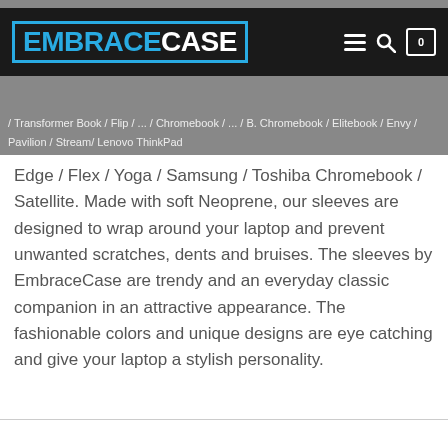EmbraceCase
/ Transformer Book / Flip / ... / Chromebook / ... / B. Chromebook / Elitebook / Envy / Pavilion / Stream/ Lenovo ThinkPad Edge / Flex / Yoga / Samsung / Toshiba Chromebook / Satellite. Made with soft Neoprene, our sleeves are designed to wrap around your laptop and prevent unwanted scratches, dents and bruises. The sleeves by EmbraceCase are trendy and an everyday classic companion in an attractive appearance. The fashionable colors and unique designs are eye catching and give your laptop a stylish personality.